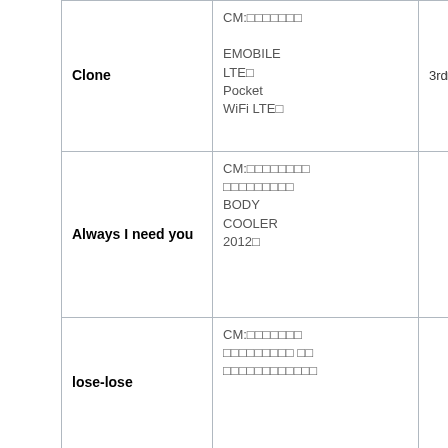|  | Title | Description | Rank |
| --- | --- | --- | --- |
|  | Clone | CM:□□□□□□□
EMOBILE
LTE□
Pocket
WiFi LTE□ | 3rd□□□□□ |
|  | Always I need you | CM:□□□□□□□□
□□□□□□□□□
BODY
COOLER
2012□ |  |
|  | lose-lose | CM:□□□□□□□
□□□□□□□□□ □□
□□□□□□□□□□□□ |  |
|  | 1% | CM:□□□□□□□
□Samantha
Vega♡□□□
□□□□□□□□□□ | 4th□□□□□ |
|  | For you | CM:□□□□□□□□ |  |